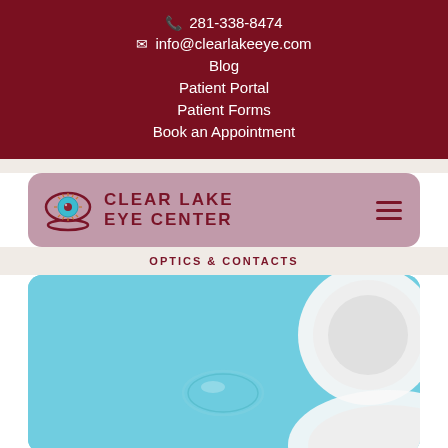📞 281-338-8474
✉ info@clearlakeeye.com
Blog
Patient Portal
Patient Forms
Book an Appointment
[Figure (logo): Clear Lake Eye Center logo with stylized eye icon and text 'CLEAR LAKE EYE CENTER' in dark red, on a mauve/pink rounded rectangle banner with hamburger menu icon]
[Figure (photo): Photo of a contact lens being placed into a contact lens case against a light blue background]